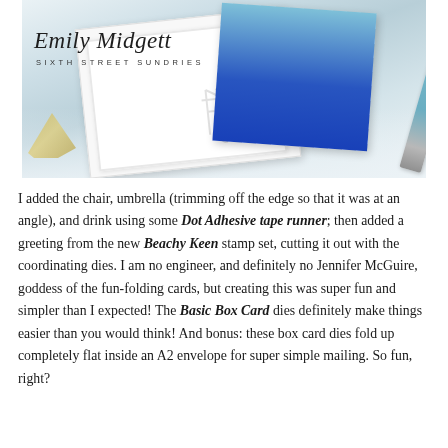[Figure (photo): Photo of handmade beach-themed box card with chair, umbrella, and drink die-cuts on white card base, alongside a blue-handled craft tool, with Emily Midgett / Sixth Street Sundries script overlay]
I added the chair, umbrella (trimming off the edge so that it was at an angle), and drink using some Dot Adhesive tape runner; then added a greeting from the new Beachy Keen stamp set, cutting it out with the coordinating dies. I am no engineer, and definitely no Jennifer McGuire, goddess of the fun-folding cards, but creating this was super fun and simpler than I expected! The Basic Box Card dies definitely make things easier than you would think! And bonus: these box card dies fold up completely flat inside an A2 envelope for super simple mailing. So fun, right?